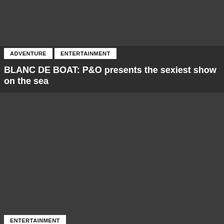[Figure (photo): Dark grey placeholder image at top of page]
ADVENTURE   ENTERTAINMENT
BLANC DE BOAT: P&O presents the sexiest show on the sea
[Figure (photo): Large dark grey placeholder image in middle of page]
ENTERTAINMENT
Timber Productions is taking Drag Supper Club to Melbourne and Sydney